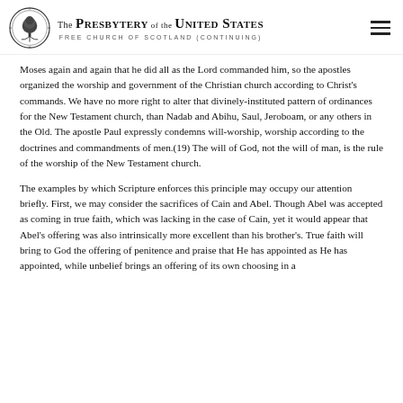The Presbytery of the United States — Free Church of Scotland (Continuing)
Moses again and again that he did all as the Lord commanded him, so the apostles organized the worship and government of the Christian church according to Christ's commands. We have no more right to alter that divinely-instituted pattern of ordinances for the New Testament church, than Nadab and Abihu, Saul, Jeroboam, or any others in the Old. The apostle Paul expressly condemns will-worship, worship according to the doctrines and commandments of men.(19) The will of God, not the will of man, is the rule of the worship of the New Testament church.
The examples by which Scripture enforces this principle may occupy our attention briefly. First, we may consider the sacrifices of Cain and Abel. Though Abel was accepted as coming in true faith, which was lacking in the case of Cain, yet it would appear that Abel's offering was also intrinsically more excellent than his brother's. True faith will bring to God the offering of penitence and praise that He has appointed as He has appointed, while unbelief brings an offering of its own choosing in a